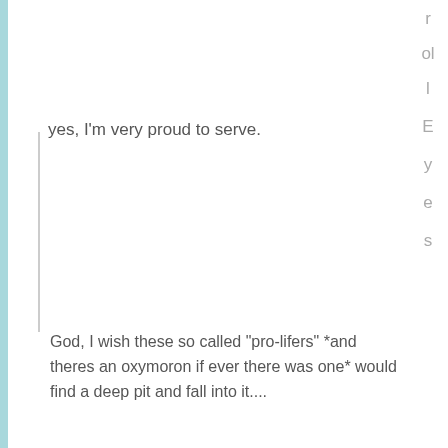yes, I'm very proud to serve.
r
ol
l
E
y
e
s
God, I wish these so called "pro-lifers" *and theres an oxymoron if ever there was one* would find a deep pit and fall into it....
I have YET to see ANYONE who is truly "Pro-Life" in the truest sense of the word.
A "Pro-Lifer" would be someone who is anti-